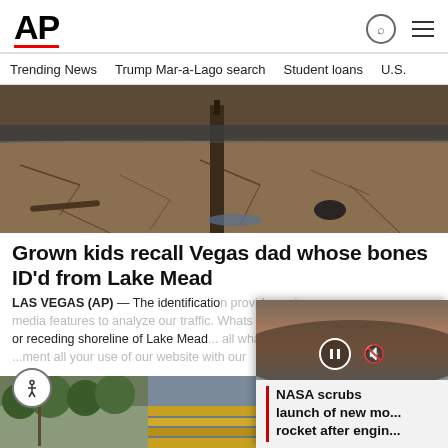[Figure (logo): AP (Associated Press) logo in bold black text with red underline]
Trending News   Trump Mar-a-Lago search   Student loans   U.S.
[Figure (photo): Dry cracked lake bed of Lake Mead with a partially submerged wooden post and scattered debris]
Grown kids recall Vegas dad whose bones ID'd from Lake Mead
LAS VEGAS (AP) — The identification of... or...receding shoreline of Lake Mead...
2 days ago
[Figure (photo): Bottom strip showing two smaller article preview images - trees/nature on left and stadium/bleachers on right]
[Figure (screenshot): Video popup overlay showing: NASA scrubs launch of new mo... rocket after engin... with play/pause and mute controls]